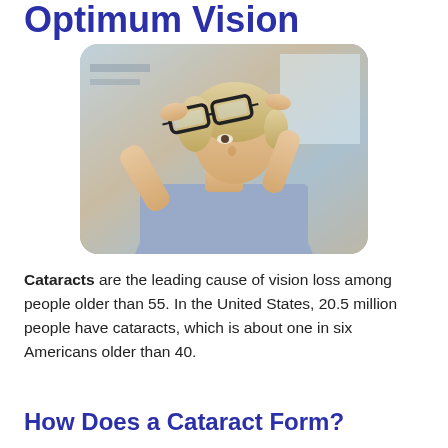Optimum Vision
[Figure (photo): A middle-aged woman with short blonde hair, wearing a light blue shirt, holding up a pair of black-framed glasses and examining them closely. Background is a blurred optician's office environment.]
Cataracts are the leading cause of vision loss among people older than 55. In the United States, 20.5 million people have cataracts, which is about one in six Americans older than 40.
How Does a Cataract Form?